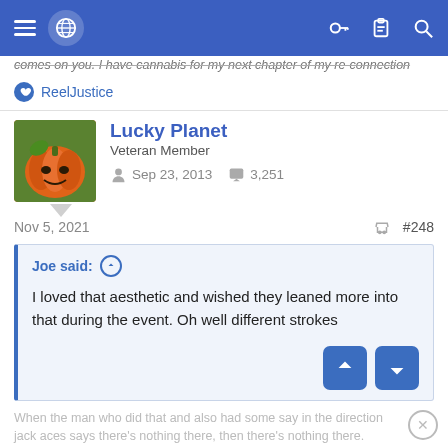Navigation bar with hamburger menu, globe icon, key icon, clipboard icon, search icon
comes on you. I have cannabis for my next chapter of my re-connection
ReelJustice
Lucky Planet
Veteran Member
Sep 23, 2013   3,251
Nov 5, 2021   #248
Joe said: ↑
I loved that aesthetic and wished they leaned more into that during the event. Oh well different strokes
When the man who did that and also had some say in the direction jack aces says there's nothing there, then there's nothing there.